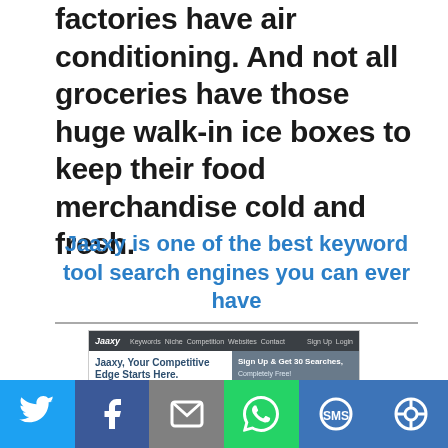factories have air conditioning. And not all groceries have those huge walk-in ice boxes to keep their food merchandise cold and fresh.
Jaaxy is one of the best keyword tool search engines you can ever have
[Figure (screenshot): Screenshot of the Jaaxy website homepage showing 'Jaaxy, Your Competitive Edge Starts Here.' with a sign-up form for 30 free searches.]
[Figure (infographic): Social sharing bar with icons for Twitter, Facebook, Email, WhatsApp, SMS, and Share.]